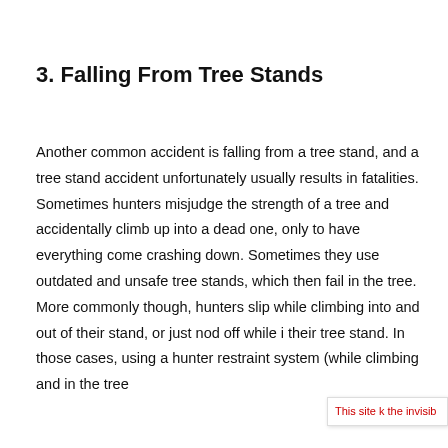3. Falling From Tree Stands
Another common accident is falling from a tree stand, and a tree stand accident unfortunately usually results in fatalities. Sometimes hunters misjudge the strength of a tree and accidentally climb up into a dead one, only to have everything come crashing down. Sometimes they use outdated and unsafe tree stands, which then fail in the tree. More commonly though, hunters slip while climbing into and out of their stand, or just nod off while in their tree stand. In those cases, using a hunter restraint system (while climbing and in the tree